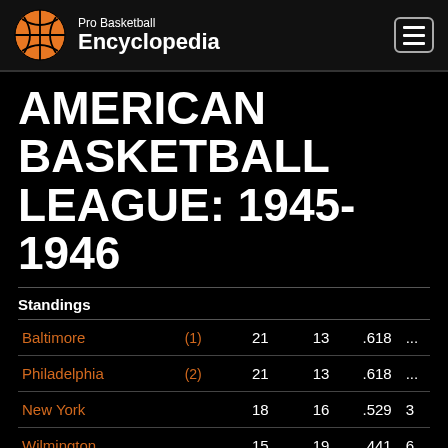Pro Basketball Encyclopedia
AMERICAN BASKETBALL LEAGUE: 1945-1946
| Team |  | W | L | PCT | GB |
| --- | --- | --- | --- | --- | --- |
| Baltimore | (1) | 21 | 13 | .618 | ... |
| Philadelphia | (2) | 21 | 13 | .618 | ... |
| New York |  | 18 | 16 | .529 | 3 |
| Wilmington |  | 15 | 19 | .441 | 6 |
| Trenton |  | 14 | 20 | .412 | 7 |
| Paterson |  | 13 | 21 | .382 | 8 |